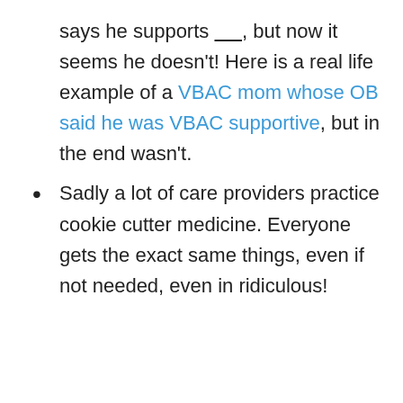says he supports ____, but now it seems he doesn't! Here is a real life example of a VBAC mom whose OB said he was VBAC supportive, but in the end wasn't.
Sadly a lot of care providers practice cookie cutter medicine. Everyone gets the exact same things, even if not needed, even in ridiculous!